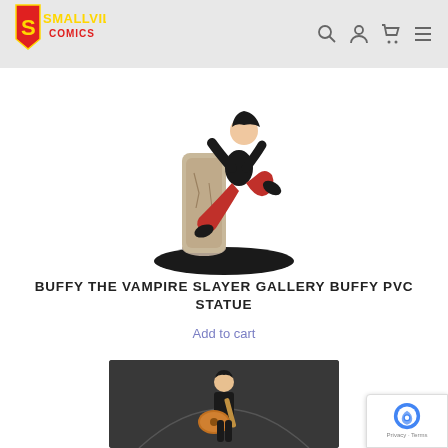[Figure (logo): Smallville Comics logo with Superman shield and stylized text]
[Figure (photo): Buffy the Vampire Slayer Gallery PVC statue showing a female figure in dynamic kicking pose with stone base, wearing black top and red pants]
BUFFY THE VAMPIRE SLAYER GALLERY BUFFY PVC STATUE
Add to cart
[Figure (photo): Collectible statue of Elvis Presley figure playing guitar, wearing black outfit, on dark background]
[Figure (other): reCAPTCHA privacy badge with Google logo]